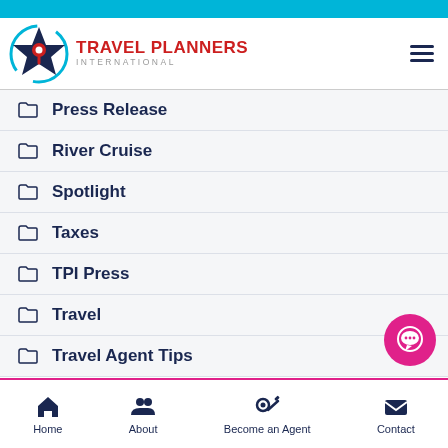[Figure (logo): Travel Planners International logo with star/compass icon and red brand name]
Press Release
River Cruise
Spotlight
Taxes
TPI Press
Travel
Travel Agent Tips
Home   About   Become an Agent   Contact